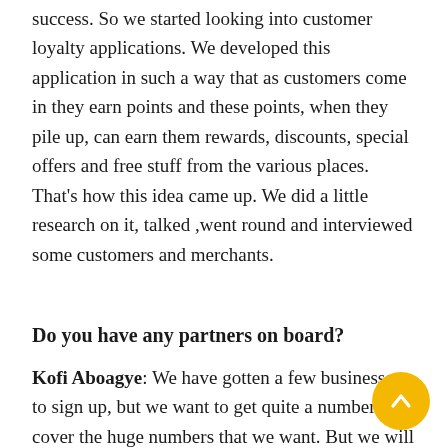success. So we started looking into customer loyalty applications. We developed this application in such a way that as customers come in they earn points and these points, when they pile up, can earn them rewards, discounts, special offers and free stuff from the various places. That's how this idea came up. We did a little research on it, talked ,went round and interviewed some customers and merchants.
Do you have any partners on board?
Kofi Aboagye: We have gotten a few businesses to sign up, but we want to get quite a number to cover the huge numbers that we want. But we will be signing on more clients to increase our reach and coverage.  We are actually preparing for our pilot